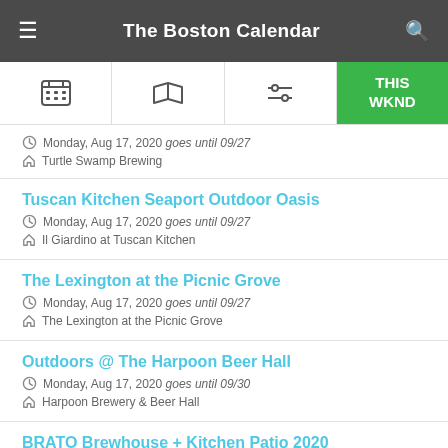The Boston Calendar
Monday, Aug 17, 2020 goes until 09/27 | Turtle Swamp Brewing
Tuscan Kitchen Seaport Outdoor Oasis
Monday, Aug 17, 2020 goes until 09/27 | Il Giardino at Tuscan Kitchen
The Lexington at the Picnic Grove
Monday, Aug 17, 2020 goes until 09/27 | The Lexington at the Picnic Grove
Outdoors @ The Harpoon Beer Hall
Monday, Aug 17, 2020 goes until 09/30 | Harpoon Brewery & Beer Hall
BRATO Brewhouse + Kitchen Patio 2020